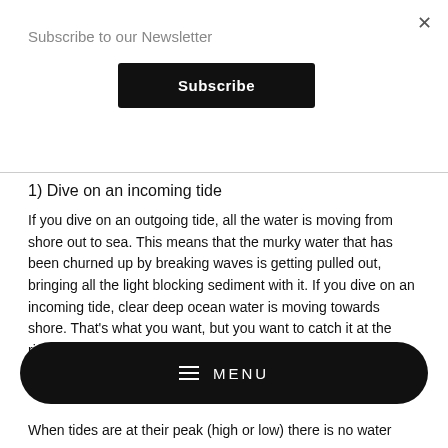Subscribe to our Newsletter
Subscribe
1) Dive on an incoming tide
If you dive on an outgoing tide, all the water is moving from shore out to sea. This means that the murky water that has been churned up by breaking waves is getting pulled out, bringing all the light blocking sediment with it. If you dive on an incoming tide, clear deep ocean water is moving towards shore. That's what you want, but you want to catch it at the right time
MENU
When tides are at their peak (high or low) there is no water